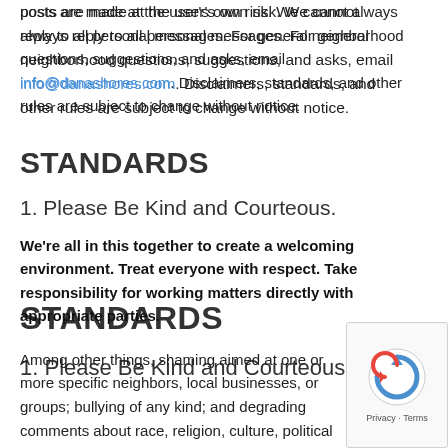posts are made at the user's own risk. We cannot always reply to all personal messages. For general neighborhood questions, suggestions, and asks, email info@danashores.com. Disclaimers, standards, and other rules are subject to change without notice.
STANDARDS
1. Please Be Kind and Courteous.
We're all in this together to create a welcoming environment. Treat everyone with respect. Take responsibility for working matters directly with appropriate parties.
Among other things, shaming aimed at one or more specific neighbors, local businesses, or groups; bullying of any kind; and degrading comments about race, religion, culture, political orientation, sexual orientation, gender, or identity will not be